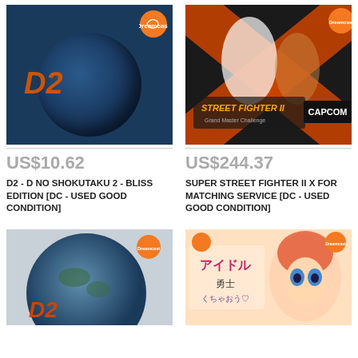[Figure (photo): D2 - D No Shokutaku 2 Dreamcast game cover showing blue globe and D2 logo]
US$10.62
D2 - D NO SHOKUTAKU 2 - BLISS EDITION [DC - USED GOOD CONDITION]
[Figure (photo): Super Street Fighter II X For Matching Service Dreamcast game cover by Capcom]
US$244.37
SUPER STREET FIGHTER II X FOR MATCHING SERVICE [DC - USED GOOD CONDITION]
[Figure (photo): D2 game cover variant showing globe, partially visible]
[Figure (photo): Anime style Dreamcast game cover with Japanese text and character illustration]